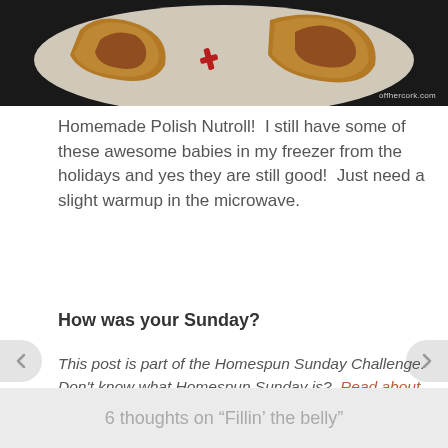[Figure (photo): Photo of homemade Polish Nutroll pastries on a plate with a red decorative element, with watermark 'offhercork.com' in bottom right corner]
Homemade Polish Nutroll!  I still have some of these awesome babies in my freezer from the holidays and yes they are still good!  Just need a slight warmup in the microwave.
How was your Sunday?
This post is part of the Homespun Sunday Challenge.  Don't know what Homespun Sunday is?  Read about it here! Want to join me? Let me know!
6 thoughts on “Fillin' the belly”